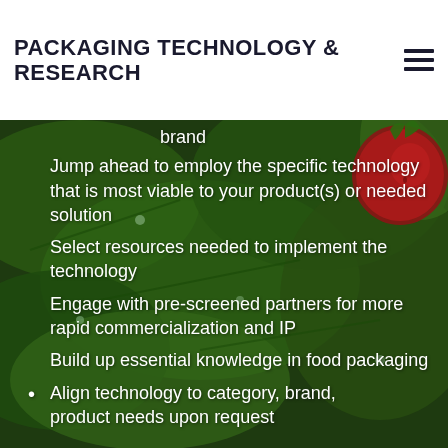PACKAGING TECHNOLOGY & RESEARCH
brand
Jump ahead to employ the specific technology that is most viable to your product(s) or needed solution
Select resources needed to implement the technology
Engage with pre-screened partners for more rapid commercialization and IP
Build up essential knowledge in food packaging
Align technology to category, brand, product needs upon request